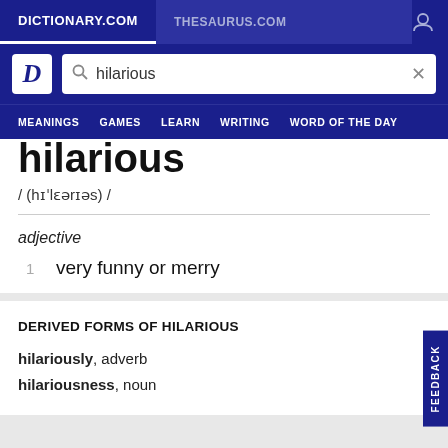DICTIONARY.COM | THESAURUS.COM
hilarious
/ (hɪˈlɛərɪəs) /
adjective
1  very funny or merry
DERIVED FORMS OF HILARIOUS
hilariously, adverb
hilariousness, noun